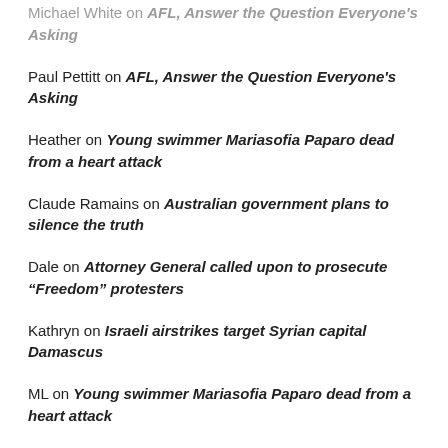Michael White on AFL, Answer the Question Everyone's Asking
Paul Pettitt on AFL, Answer the Question Everyone's Asking
Heather on Young swimmer Mariasofia Paparo dead from a heart attack
Claude Ramains on Australian government plans to silence the truth
Dale on Attorney General called upon to prosecute “Freedom” protesters
Kathryn on Israeli airstrikes target Syrian capital Damascus
ML on Young swimmer Mariasofia Paparo dead from a heart attack
Julie Pelletier on Young swimmer Mariasofia Paparo dead from a heart attack
MP on Young swimmer Mariasofia Paparo dead from a heart attack
Gotham Knight on Young swimmer Mariasofia Paparo dead from a